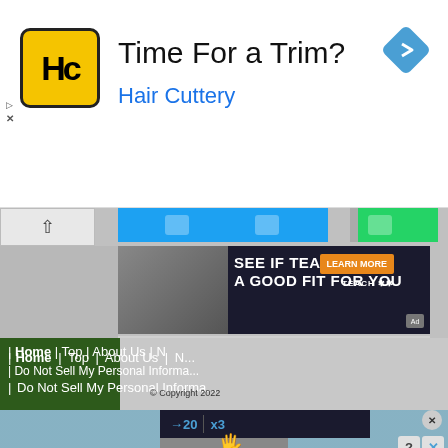[Figure (screenshot): Advertisement banner for Hair Cuttery showing logo with HC initials on yellow background, text 'Time For a Trim?' and 'Hair Cuttery' in blue, with blue diamond navigation arrow icon on the right]
[Figure (screenshot): Website screenshot showing social sharing bar with Twitter (blue) and WhatsApp (green) buttons, an advertisement banner 'SEE IF TEACHING IS A GOOD FIT FOR YOU' with orange 'LEARN MORE' button and Teach logo, 'Powered by Carambola' text, a dark video player overlay with play controls and mute button, green navigation bar with Home, Top, About Us, N... links and 'Do Not Sell My Personal Informa...' link, copyright 2022 text]
[Figure (screenshot): Bottom advertisement showing dark video player with hold and move interface, blue play/navigation arrows, '20' and 'x3' counters, person hand icon, 'Hold and Move' text in white, with trees/nature background on sides and X close button and question mark/X buttons]